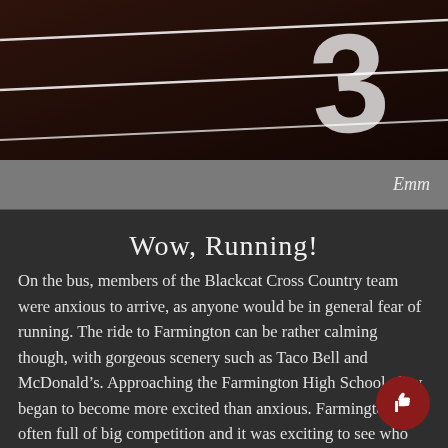[Figure (photo): Close-up photo of a running track surface showing a large number '3' in white on dark brown/black track material, with white lane lines visible.]
Emm
Wow, Running!
On the bus, members of the Blackcat Cross Country team were anxious to arrive, as anyone would be in general fear of running. The ride to Farmington can be rather calming though, with gorgeous scenery such as Taco Bell and McDonald's. Approaching the Farmington High School, they began to become more excited than anxious. Farmington is often full of big competition and it was exciting to see who would come out on top.